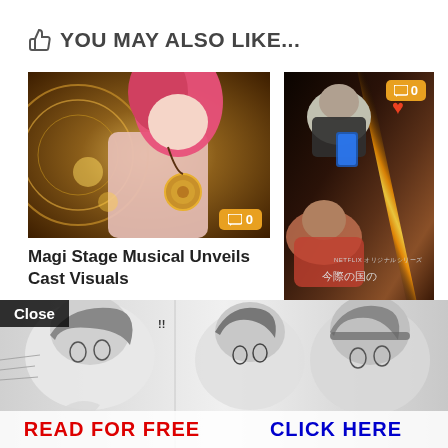YOU MAY ALSO LIKE...
[Figure (photo): Thumbnail of anime/cosplay character with pink-red hair and gold medallion necklace against decorative golden background, with orange comment badge showing 0]
Magi Stage Musical Unveils Cast Visuals
MAY 13, 2022
[Figure (photo): Thumbnail of live-action Netflix show Alice in Borderland Season 2 showing two characters lying on ground with glowing orange diagonal line and heart decoration, Japanese text visible, with orange comment badge showing 0]
Live-Action Alice in Borderland Season 2's
ber
[Figure (illustration): Manga-style advertisement banner showing anime girl characters in black and white with Close button, READ FOR FREE text in red and CLICK HERE in blue]
Close
READ FOR FREE   CLICK HERE